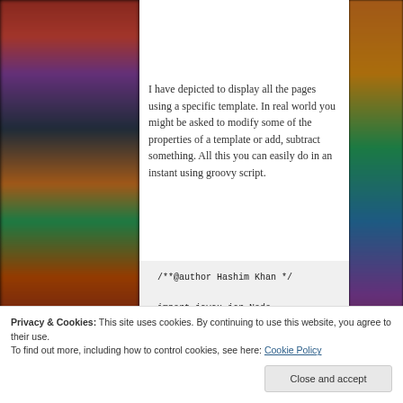[Figure (photo): Blurred bokeh nightlife background photo visible on left and right sides of the page]
I have depicted to display all the pages using a specific template. In real world you might be asked to modify some of the properties of a template or add, subtract something. All this you can easily do in an instant using groovy script.
/**@author Hashim Khan */

import javax.jcr.Node

/*Flag to count the number of pages*/
noOfPages = 0
/*Pathfield which needs to be iterated
*/
Privacy & Cookies: This site uses cookies. By continuing to use this website, you agree to their use.
To find out more, including how to control cookies, see here: Cookie Policy
Close and accept